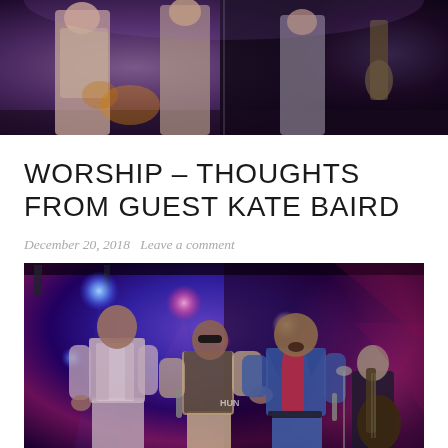[Figure (photo): Concert photo showing band members on stage with purple and pink stage lighting, partially cropped at top of page]
WORSHIP – THOUGHTS FROM GUEST KATE BAIRD
December 20, 2018   Leave a comment
[Figure (photo): Concert photo showing three male performers on stage singing, with a guitar player visible in the background right, stage lit with blue and pink/purple lights]